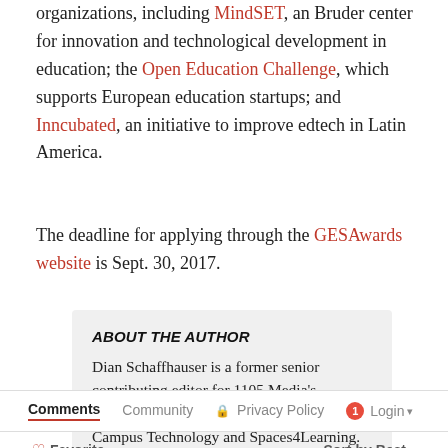organizations, including MindSET, an Bruder center for innovation and technological development in education; the Open Education Challenge, which supports European education startups; and Inncubated, an initiative to improve edtech in Latin America.
The deadline for applying through the GESAwards website is Sept. 30, 2017.
ABOUT THE AUTHOR
Dian Schaffhauser is a former senior contributing editor for 1105 Media's education publications THE Journal, Campus Technology and Spaces4Learning.
Comments  Community  Privacy Policy  1  Login  Favorite  Sort by Best